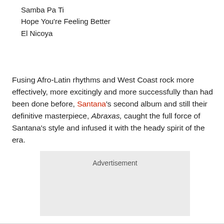Samba Pa Ti
Hope You're Feeling Better
El Nicoya
Fusing Afro-Latin rhythms and West Coast rock more effectively, more excitingly and more successfully than had been done before, Santana's second album and still their definitive masterpiece, Abraxas, caught the full force of Santana's style and infused it with the heady spirit of the era.
[Figure (other): Advertisement placeholder box]